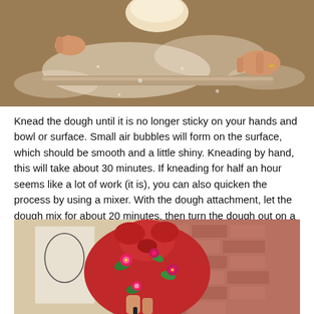[Figure (photo): Hands kneading dough on a floured wooden surface with a rolling pin]
Knead the dough until it is no longer sticky on your hands and bowl or surface. Small air bubbles will form on the surface, which should be smooth and a little shiny. Kneading by hand, this will take about 30 minutes. If kneading for half an hour seems like a lot of work (it is), you can also quicken the process by using a mixer. With the dough attachment, let the dough mix for about 20 minutes, then turn the dough out on a surface and give it a quick knead as above for a few minutes to give it a nice smooth top.
[Figure (photo): Person wearing a red floral headscarf or cloth wrapped around their head, with brick wall background]